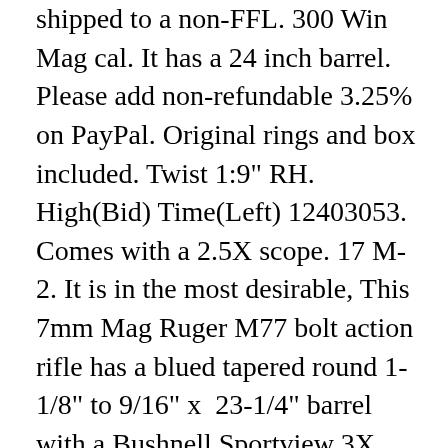shipped to a non-FFL. 300 Win Mag cal. It has a 24 inch barrel. Please add non-refundable 3.25% on PayPal. Original rings and box included. Twist 1:9" RH. High(Bid) Time(Left) 12403053. Comes with a 2.5X scope. 17 M-2. It is in the most desirable, This 7mm Mag Ruger M77 bolt action rifle has a blued tapered round 1-1/8" to 9/16" x  23-1/4" barrel with a Bushnell Sportview 3X Scope. It's easy to avoid this fee except for CA. Over all excellent condition. 20" bbl w/ blued metal finish & no sights. "Early tang safety model. • L. NIB Lipsey's exclusive Ruger 77 Hawkeye African in .275 Rigby (model 47180). Ruger 17 Mach 2 Rifle on Sale. The blue is excellent showing only light use and the wood has only a few minor marks. 1968 • Free